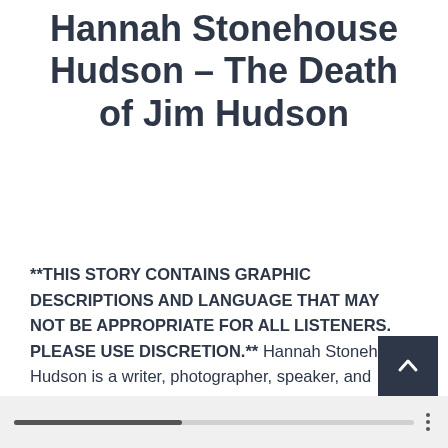Hannah Stonehouse Hudson - The Death of Jim Hudson
**THIS STORY CONTAINS GRAPHIC DESCRIPTIONS AND LANGUAGE THAT MAY NOT BE APPROPRIATE FOR ALL LISTENERS. PLEASE USE DISCRETION.** Hannah Stonehouse Hudson is a writer, photographer, speaker, and outdoor enthusiast from Wisconsin. In 2013, her husband, Jim Hudson, passed away after falling through the ice while ice fishing. Her stoic resolve while telling the story of Jim's death comes from years of advocacy and education around ice safety.